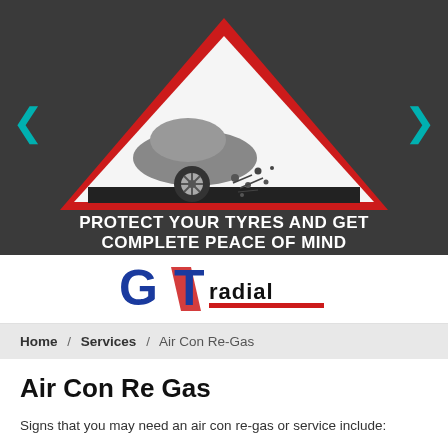[Figure (illustration): Dark grey banner with a red-bordered warning triangle containing a car with a flat tyre and debris. White bold text below reads: PROTECT YOUR TYRES AND GET COMPLETE PEACE OF MIND. Teal left and right arrow navigation chevrons on sides.]
[Figure (logo): GT Radial logo: blue GT letters with red diagonal stripe and black RADIAL text]
Home / Services / Air Con Re-Gas
Air Con Re Gas
Signs that you may need an air con re-gas or service include: